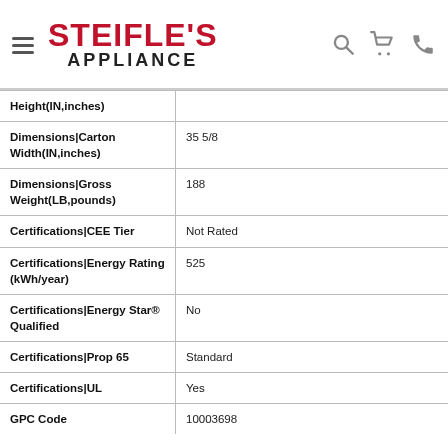STEIFLE'S APPLIANCE
| Attribute | Value |
| --- | --- |
| Height(IN,inches) |  |
| Dimensions|Carton Width(IN,inches) | 35 5/8 |
| Dimensions|Gross Weight(LB,pounds) | 188 |
| Certifications|CEE Tier | Not Rated |
| Certifications|Energy Rating (kWh/year) | 525 |
| Certifications|Energy Star® Qualified | No |
| Certifications|Prop 65 | Standard |
| Certifications|UL | Yes |
| GPC Code | 10003698 |